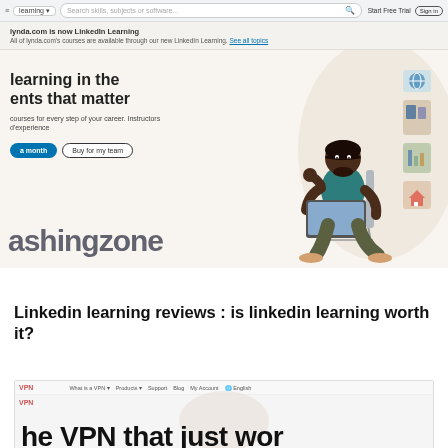[Figure (screenshot): LinkedIn Learning website screenshot showing browser bar with 'learning' tab and search bar, notification banner 'lynda.com is now LinkedIn Learning', and hero section with text 'learning in the ents that matter', buttons, and illustration of person on laptop. Watermark text 'ashingzone' overlaid.]
Linkedin learning reviews : is linkedin learning worth it?
[Figure (screenshot): Partial screenshot of a VPN website showing navigation bar and large text 'he VPN that just wor']